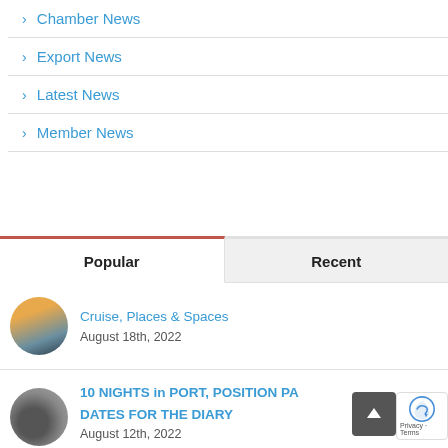> Chamber News
> Export News
> Latest News
> Member News
Popular | Recent
Cruise, Places & Spaces
August 18th, 2022
10 NIGHTS in PORT, POSITION PASSAGE DATES FOR THE DIARY
August 12th, 2022